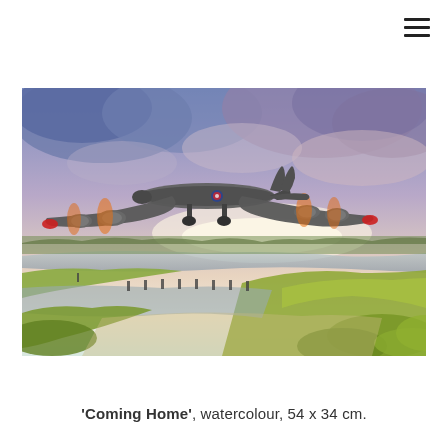[Figure (illustration): Watercolour painting of a WWII Lancaster bomber aircraft flying low over a flat marshland landscape at dusk, with dramatic cloudy sky in shades of blue, purple, and pink, green fields and water below, runway marker lights visible.]
'Coming Home', watercolour, 54 x 34 cm.